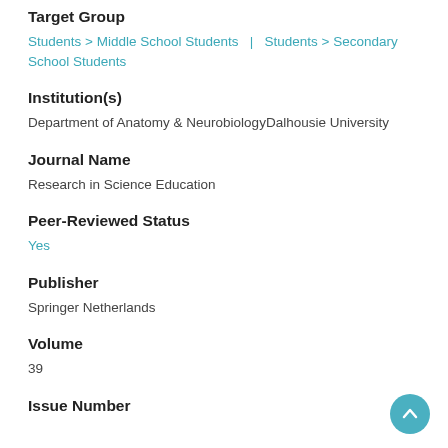Target Group
Students > Middle School Students  |  Students > Secondary School Students
Institution(s)
Department of Anatomy & NeurobiologyDalhousie University
Journal Name
Research in Science Education
Peer-Reviewed Status
Yes
Publisher
Springer Netherlands
Volume
39
Issue Number